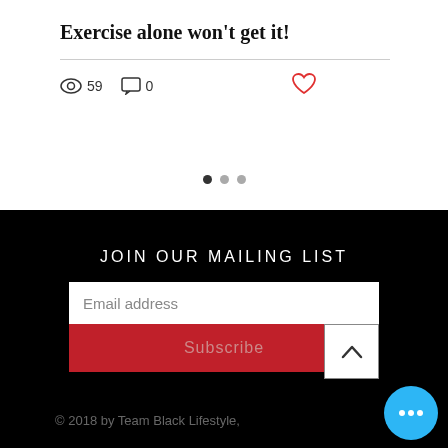Exercise alone won't get it!
59 views · 0 comments
[Figure (infographic): Pagination dots: three dots, first filled dark (active), second and third grey]
JOIN OUR MAILING LIST
Email address
Subscribe
© 2018 by Team Black Lifestyle,